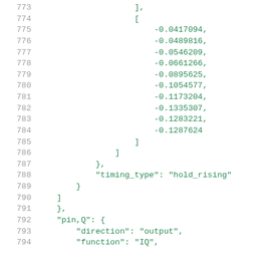Code listing lines 773-794 showing JSON/Liberty file data structure with numeric array values and pin definitions
773: ],
774: [
775: -0.0417094,
776: -0.0489816,
777: -0.0546209,
778: -0.0661266,
779: -0.0895625,
780: -0.1054577,
781: -0.1173204,
782: -0.1335307,
783: -0.1283221,
784: -0.1287624
785: ]
786: ]
787: },
788: "timing_type": "hold_rising"
789: }
790: ]
791: },
792: "pin,Q": {
793: "direction": "output",
794: "function": "IQ",